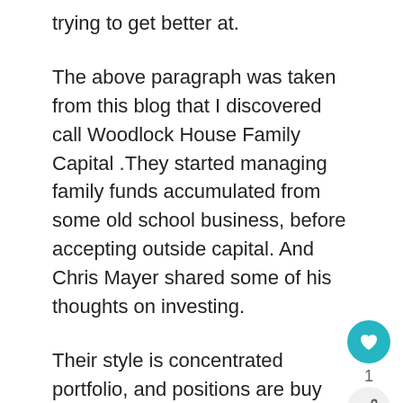trying to get better at.
The above paragraph was taken from this blog that I discovered call Woodlock House Family Capital .They started managing family funds accumulated from some old school business, before accepting outside capital. And Chris Mayer shared some of his thoughts on investing.
Their style is concentrated portfolio, and positions are buy forever.
This article is about the art of execution a... I thought it pairs very well with this article on